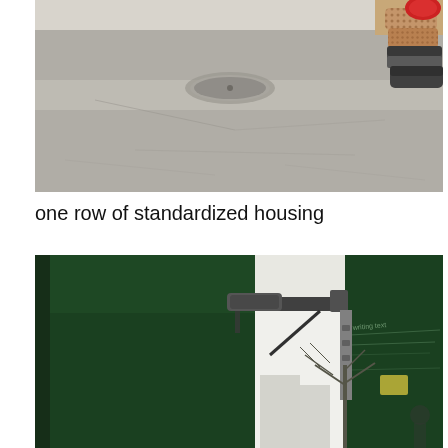[Figure (photo): Outdoor concrete floor/pavement with a circular drain cover in the center. In the upper right corner, several pairs of shoes (sneakers and patterned slip-ons) and a red bag are lined up against a wall.]
one row of standardized housing
[Figure (photo): A large dark green sliding gate or door structure with a mechanical arm/closer at the top. Through the open gate, a leafless tree and urban buildings are visible in the background. The right panel of the gate has graffiti/writing on it. The overall image is desaturated/low color.]